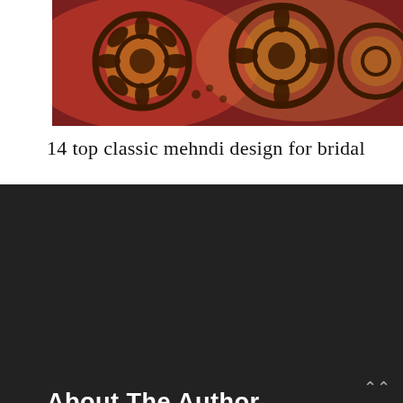[Figure (photo): Close-up photograph of intricate mehndi (henna) designs on hands, showing circular floral patterns in dark brown/maroon henna on skin, with pink background.]
14 top classic mehndi design for bridal
About The Author
[Figure (photo): Circular grey avatar/placeholder icon showing a generic person silhouette — white head and shoulders on grey background.]
Asad Seeker
Hi, My Name is Asad Seeker and I am Crazy to Share New Fashion Trends with You. Hope You Like My Site So Don't Forget To Share this With Your Friends... Thanks!